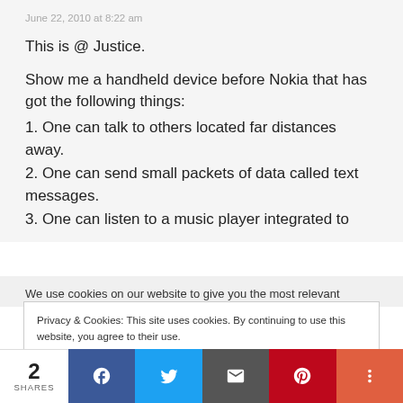June 22, 2010 at 8:22 am
This is @ Justice.
Show me a handheld device before Nokia that has got the following things:
1. One can talk to others located far distances away.
2. One can send small packets of data called text messages.
3. One can listen to a music player integrated to
We use cookies on our website to give you the most relevant
Privacy & Cookies: This site uses cookies. By continuing to use this website, you agree to their use.
To find out more, including how to control cookies, see here: Cookie Policy